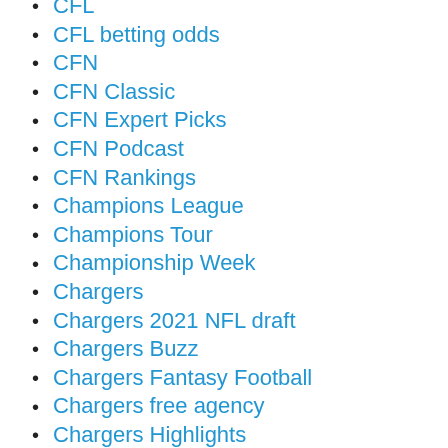CFL
CFL betting odds
CFN
CFN Classic
CFN Expert Picks
CFN Podcast
CFN Rankings
Champions League
Champions Tour
Championship Week
Chargers
Chargers 2021 NFL draft
Chargers Buzz
Chargers Fantasy Football
Chargers free agency
Chargers Highlights